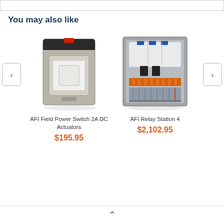You may also like
[Figure (photo): AFI Field Power Switch 2A DC Actuators product photo - a rectangular gray metal enclosure with a white panel switch and red indicator on top]
AFI Field Power Switch 2A DC Actuators
$195.95
[Figure (photo): AFI Relay Station 4 product photo - an open metal enclosure showing wiring, relay components, and terminal blocks]
AFI Relay Station 4
$2,102.95